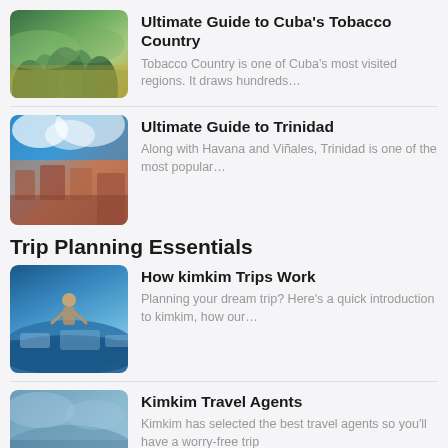[Figure (photo): Tropical landscape with palm trees and mountains - Cuba Tobacco Country]
Ultimate Guide to Cuba's Tobacco Country
Tobacco Country is one of Cuba's most visited regions. It draws hundreds...
[Figure (photo): Colorful town with blue sky - Trinidad Cuba]
Ultimate Guide to Trinidad
Along with Havana and Viñales, Trinidad is one of the most popular...
Trip Planning Essentials
[Figure (photo): Person standing on a cliff overlooking water - kimkim trips]
How kimkim Trips Work
Planning your dream trip? Here's a quick introduction to kimkim, how our...
[Figure (photo): Kayaks on water - Kimkim Travel Agents]
Kimkim Travel Agents
Kimkim has selected the best travel agents so you'll have a worry-free trip
Most Viewed Cuba Content
[Figure (photo): Cuban architecture with palm trees]
How Many Days Should You Spend in Cuba?
Cuba, an island measuring 780 miles end to end, is much...